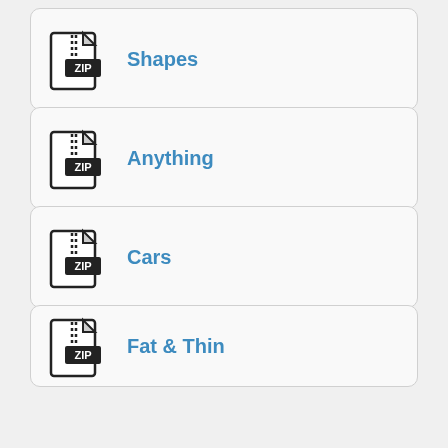Shapes
Anything
Cars
Fat & Thin